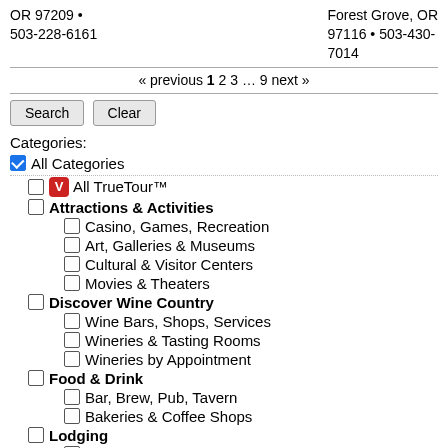OR 97209 • 503-228-6161
Forest Grove, OR 97116 • 503-430-7014
« previous 1 2 3 … 9 next »
Search | Clear
Categories:
All Categories (checked)
All TrueTour™
Attractions & Activities
Casino, Games, Recreation
Art, Galleries & Museums
Cultural & Visitor Centers
Movies & Theaters
Discover Wine Country
Wine Bars, Shops, Services
Wineries & Tasting Rooms
Wineries by Appointment
Food & Drink
Bar, Brew, Pub, Tavern
Bakeries & Coffee Shops
Lodging
Bed & Breakfast
Flats, Rentals, Vacation
Hotels & Motels